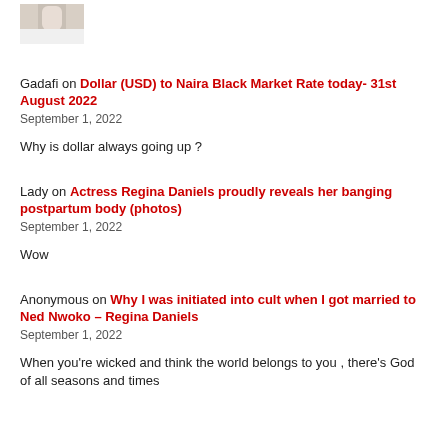[Figure (photo): Partial photo of a person in white clothing, cropped at top-left]
Gadafi on Dollar (USD) to Naira Black Market Rate today- 31st August 2022
September 1, 2022
Why is dollar always going up ?
Lady on Actress Regina Daniels proudly reveals her banging postpartum body (photos)
September 1, 2022
Wow
Anonymous on Why I was initiated into cult when I got married to Ned Nwoko – Regina Daniels
September 1, 2022
When you're wicked and think the world belongs to you , there's God of all seasons and times